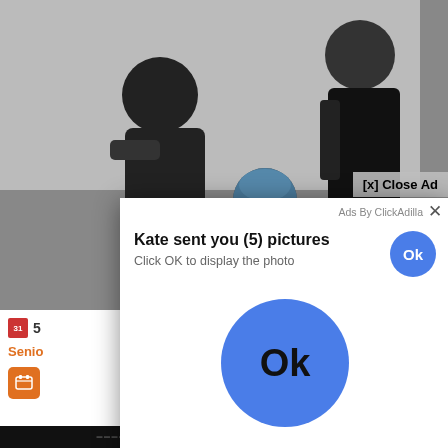[Figure (screenshot): Screenshot of a webpage showing a video of police officers with a patient, overlaid by a popup ad from ClickAdilla saying 'Kate sent you (5) pictures' with an Ok button, and surrounding webpage UI elements including a calendar icon, 'Senio' text link, orange icon, and colored sidebar elements.]
[x] Close Ad
Ads By ClickAdilla
Kate sent you (5) pictures
Click OK to display the photo
Ok
Ok
5
Senio
Y
LS
a1h